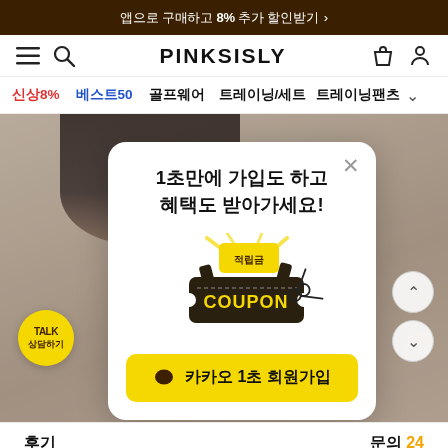앱으로 구매하고 8% 추가 할인받기 ›
PINKSISLY
신상8%
베스트50
골프웨어
트레이닝/세트
트레이닝팬츠
[Figure (screenshot): Modal popup on PINKSISLY shopping website showing a sign-up promotion with coupon illustration and KakaoTalk 1-click membership button]
1초만에 가입도 하고
혜택도 받아가세요!
카카오 1초 회원가입
후기
문의 24